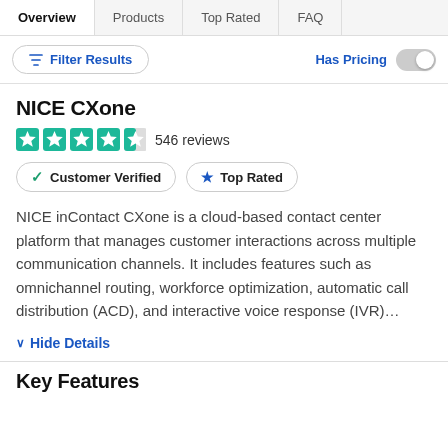Overview | Products | Top Rated | FAQ
Filter Results | Has Pricing
NICE CXone
4.5 stars — 546 reviews
Customer Verified | Top Rated
NICE inContact CXone is a cloud-based contact center platform that manages customer interactions across multiple communication channels. It includes features such as omnichannel routing, workforce optimization, automatic call distribution (ACD), and interactive voice response (IVR)…
Hide Details
Key Features